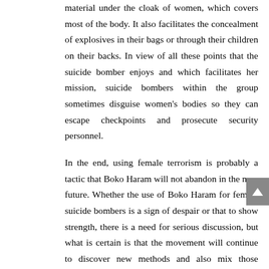material under the cloak of women, which covers most of the body. It also facilitates the concealment of explosives in their bags or through their children on their backs. In view of all these points that the suicide bomber enjoys and which facilitates her mission, suicide bombers within the group sometimes disguise women's bodies so they can escape checkpoints and prosecute security personnel.
In the end, using female terrorism is probably a tactic that Boko Haram will not abandon in the near future. Whether the use of Boko Haram for female suicide bombers is a sign of despair or that to show strength, there is a need for serious discussion, but what is certain is that the movement will continue to discover new methods and also mix those methods with old ones as part of its violent campaign against all the easy targets And difficult in Nigeria. As Nigeria is coming to